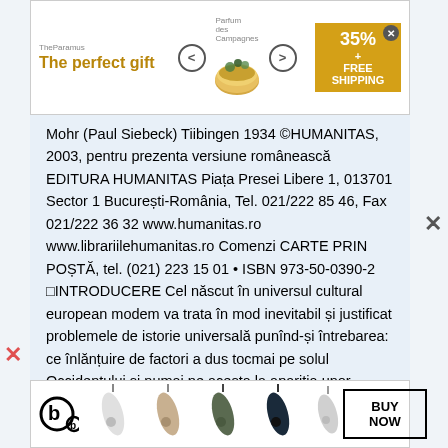[Figure (other): Top advertisement banner: 'The perfect gift' with bowl imagery and '35% + FREE SHIPPING' offer]
Mohr (Paul Siebeck) Tiibingen 1934 ©HUMANITAS, 2003, pentru prezenta versiune românească EDITURA HUMANITAS Piața Presei Libere 1, 013701 Sector 1 București-România, Tel. 021/222 85 46, Fax 021/222 36 32 www.humanitas.ro www.librariilehumanitas.ro Comenzi CARTE PRIN POȘTĂ, tel. (021) 223 15 01 • ISBN 973-50-0390-2 □INTRODUCERE Cel născut în universul cultural european modem va trata în mod inevitabil și justificat problemele de istorie universală punînd-și întrebarea: ce înlănțuire de factori a dus tocmai pe solul Occidentului și numai pe acesta la apariția unor fenomene culturale care totuși - cel pu țin așa ne place să ne închipuim- se situează pe o di recție de dezvoltare de însemnătate si valabilitate univer sală?
[Figure (other): Bottom advertisement banner for Beats earbuds with 'BUY NOW' button]